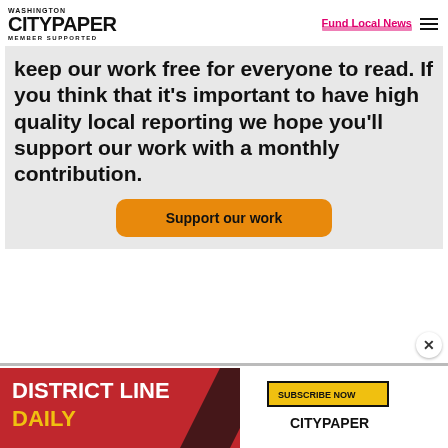Washington City Paper — Member Supported | Fund Local News
keep our work free for everyone to read. If you think that it's important to have high quality local reporting we hope you'll support our work with a monthly contribution.
Support our work
[Figure (screenshot): District Line Daily advertisement banner with Subscribe Now button and City Paper logo]